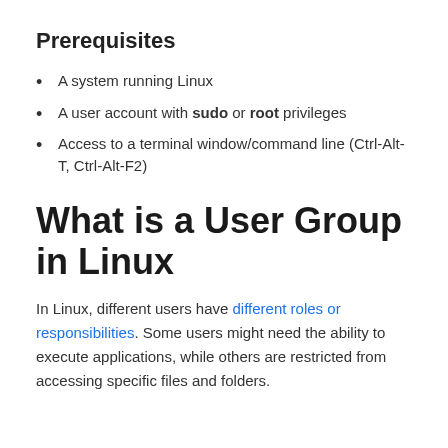Prerequisites
A system running Linux
A user account with sudo or root privileges
Access to a terminal window/command line (Ctrl-Alt-T, Ctrl-Alt-F2)
What is a User Group in Linux
In Linux, different users have different roles or responsibilities. Some users might need the ability to execute applications, while others are restricted from accessing specific files and folders.